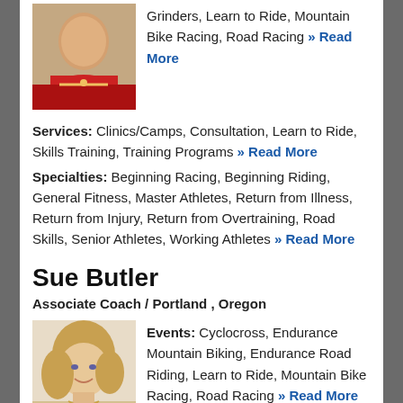Grinders, Learn to Ride, Mountain Bike Racing, Road Racing » Read More
Services: Clinics/Camps, Consultation, Learn to Ride, Skills Training, Training Programs » Read More
Specialties: Beginning Racing, Beginning Riding, General Fitness, Master Athletes, Return from Illness, Return from Injury, Return from Overtraining, Road Skills, Senior Athletes, Working Athletes » Read More
Sue Butler
Associate Coach / Portland , Oregon
[Figure (photo): Portrait photo of Sue Butler, a woman with medium-length blonde hair, smiling, wearing a blue top]
Events: Cyclocross, Endurance Mountain Biking, Endurance Road Riding, Learn to Ride, Mountain Bike Racing, Road Racing » Read More
Services: Clinics/Camps, Consultation, Learn to Ride, Skills